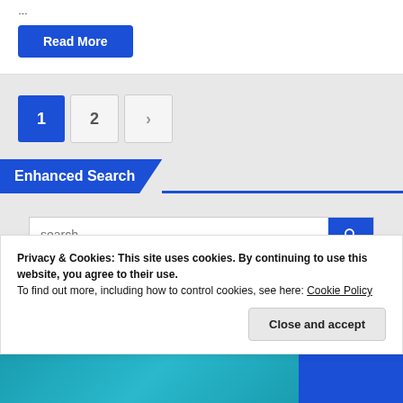...
Read More
1  2  >
Enhanced Search
search
Privacy & Cookies: This site uses cookies. By continuing to use this website, you agree to their use.
To find out more, including how to control cookies, see here: Cookie Policy
Close and accept
[Figure (illustration): Teal decorative image strip at bottom of page]